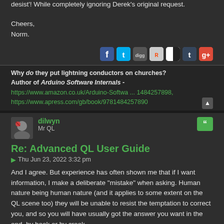desist'! While completely ignoring Derek's original request.
Cheers,
Norm.
[Figure (infographic): Social sharing icons: Facebook, Twitter, Digg, Reddit, Delicious, Tumblr, Google+]
Why do they put lightning conductors on churches?
Author of Arduino Software Internals - https://www.amazon.co.uk/Arduino-Softwa ... 1484257898, https://www.apress.com/gb/book/9781484257890
dilwyn
Mr QL
Re: Advanced QL User Guide
Thu Jun 23, 2022 3:32 pm
And I agree. But experience has often shown me that if I want information, I make a deliberate "mistake" when asking. Human nature being human nature (and it applies to some extent on the QL scene too) they will be unable to resist the temptation to correct you, and so you will have usually got the answer you want in the end, by hook or by crook.
[Figure (infographic): Social sharing icons: Facebook, Twitter, Digg, Reddit, Delicious, Tumblr, Google+]